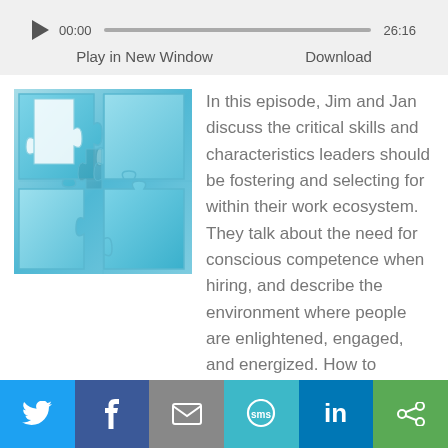[Figure (screenshot): Audio player bar showing play button, 00:00 timestamp, progress bar, and 26:16 duration]
Play in New Window    Download
[Figure (illustration): Blue puzzle pieces with one white piece removed, representing fitting skills]
In this episode, Jim and Jan discuss the critical skills and characteristics leaders should be fostering and selecting for within their work ecosystem. They talk about the need for conscious competence when hiring, and describe the environment where people are enlightened, engaged, and energized. How to contact Jim & Jan: StrengthsFinder
[Figure (infographic): Social sharing bar with Twitter, Facebook, Email, SMS, LinkedIn, and other share buttons]